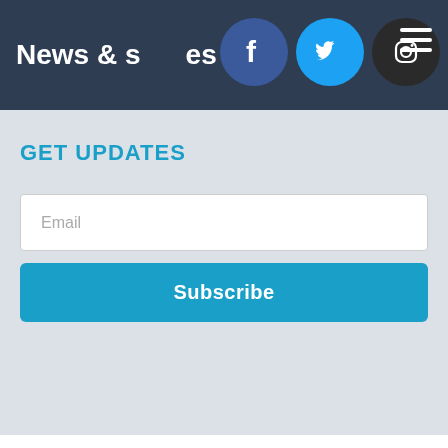News & stories
[Figure (illustration): Social media icons row: Facebook (dark blue circle), Twitter (light blue circle), Instagram (black circle), LinkedIn (teal circle)]
GET UPDATES
Email
Subscribe
We use cookies to ensure that we give you the best experience on our website.
ACCEPT  NO